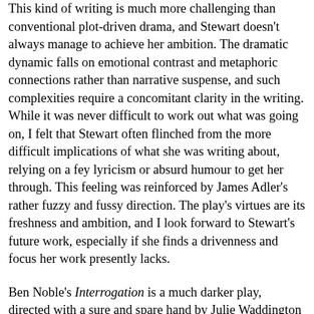This kind of writing is much more challenging than conventional plot-driven drama, and Stewart doesn't always manage to achieve her ambition. The dramatic dynamic falls on emotional contrast and metaphoric connections rather than narrative suspense, and such complexities require a concomitant clarity in the writing. While it was never difficult to work out what was going on, I felt that Stewart often flinched from the more difficult implications of what she was writing about, relying on a fey lyricism or absurd humour to get her through. This feeling was reinforced by James Adler's rather fuzzy and fussy direction. The play's virtues are its freshness and ambition, and I look forward to Stewart's future work, especially if she finds a drivenness and focus her work presently lacks.
Ben Noble's Interrogation is a much darker play, directed with a sure and spare hand by Julie Waddington to make compelling theatre. Noble is clearly a startling and intelligent talent: he is the only actor on stage, and has given himself the material for a virtusoso performance. The play also features filmed scenes acted by Alison Boyce, Shaun Brown, Sylvie de Crespigny, Daniel Frederksen, Fiona MacLeod and